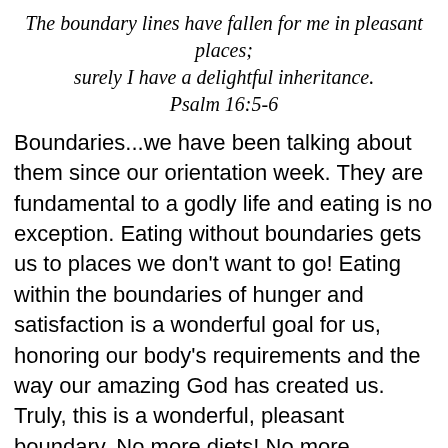The boundary lines have fallen for me in pleasant places; surely I have a delightful inheritance. Psalm 16:5-6
Boundaries...we have been talking about them since our orientation week. They are fundamental to a godly life and eating is no exception. Eating without boundaries gets us to places we don't want to go! Eating within the boundaries of hunger and satisfaction is a wonderful goal for us, honoring our body's requirements and the way our amazing God has created us. Truly, this is a wonderful, pleasant boundary. No more diets! No more restriction! No more obsession! It is my hope that you are experiencing the blessing of living